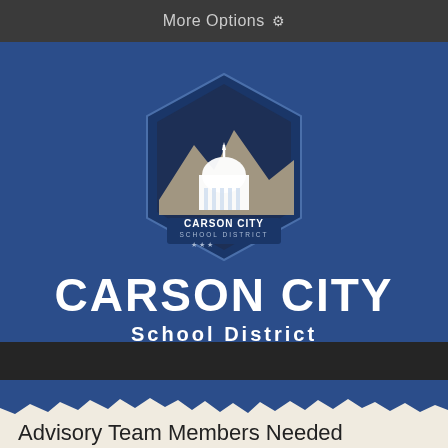More Options ⚙
[Figure (logo): Carson City School District hexagonal shield logo with capitol dome and mountains, white on dark blue]
CARSON CITY School District
Advisory Team Members Needed